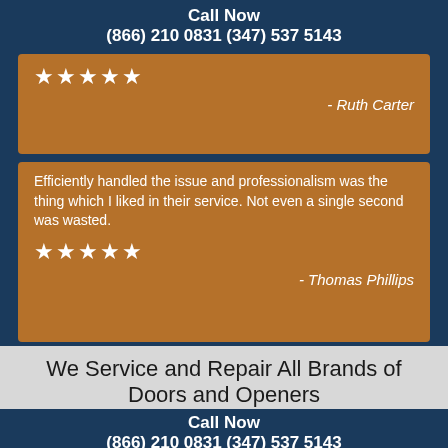Call Now
(866) 210 0831 (347) 537 5143
★★★★★
- Ruth Carter
Efficiently handled the issue and professionalism was the thing which I liked in their service. Not even a single second was wasted.
★★★★★
- Thomas Phillips
We Service and Repair All Brands of Doors and Openers
Call Now
(866) 210 0831 (347) 537 5143